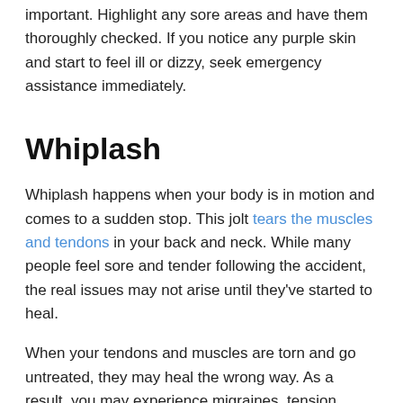important. Highlight any sore areas and have them thoroughly checked. If you notice any purple skin and start to feel ill or dizzy, seek emergency assistance immediately.
Whiplash
Whiplash happens when your body is in motion and comes to a sudden stop. This jolt tears the muscles and tendons in your back and neck. While many people feel sore and tender following the accident, the real issues may not arise until they've started to heal.
When your tendons and muscles are torn and go untreated, they may heal the wrong way. As a result, you may experience migraines, tension headaches, and chronic back or neck pain. Whiplash is treatable with physiotherapy and deep tissue massage.